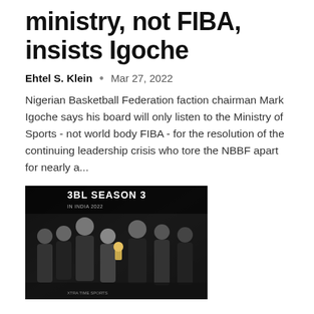ministry, not FIBA, insists Igoche
Ehtel S. Klein  •  Mar 27, 2022
Nigerian Basketball Federation faction chairman Mark Igoche says his board will only listen to the Ministry of Sports - not world body FIBA - for the resolution of the continuing leadership crisis who tore the NBBF apart for nearly a...
[Figure (photo): Group photo of people at 3BL Season 3 event backdrop, several men posing together holding a trophy]
Indian men's 3×3 basketball reaches highest FIBA World